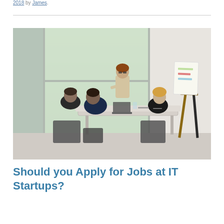2018 by James.
[Figure (photo): Office meeting scene: a woman with glasses standing and presenting to three seated colleagues around a white table with laptops. An easel with papers is visible on the right side of the image. Natural light comes from a window on the left.]
Should you Apply for Jobs at IT Startups?